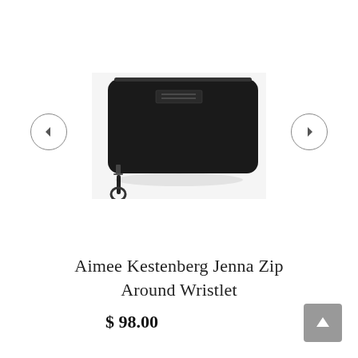[Figure (photo): Black leather zip-around wristlet wallet (Aimee Kestenberg Jenna) shown on light grey background, with left and right navigation arrow buttons on either side]
Aimee Kestenberg Jenna Zip Around Wristlet
$ 98.00